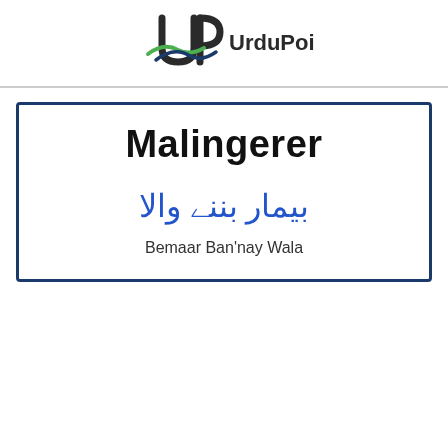[Figure (logo): UrduPoint logo with green and dark swoosh emblem and text 'UrduPoint' in dark gray]
Malingerer
بیمار بننے والا
Bemaar Ban'nay Wala